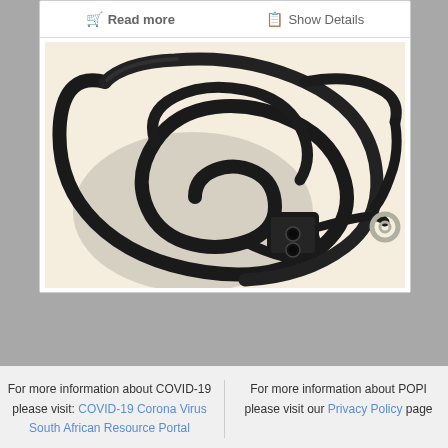[Figure (other): Buttons: Read more (cart icon) and Show Details (document icon) in a white card panel]
[Figure (photo): Black electrical cable coiled with a two-socket connector block on one end and a ring terminal on the other end, photographed on a white background]
For more information about COVID-19 please visit: COVID-19 Corona Virus South African Resource Portal
For more information about POPI please visit our Privacy Policy page